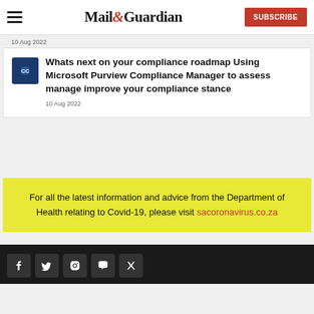Mail & Guardian — Subscribe
10 Aug 2022
Whats next on your compliance roadmap Using Microsoft Purview Compliance Manager to assess manage improve your compliance stance
10 Aug 2022
For all the latest information and advice from the Department of Health relating to Covid-19, please visit sacoronavirus.co.za
Social media icons row